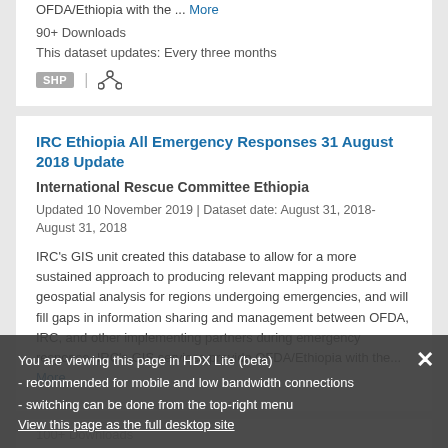OFDA/Ethiopia with the ... More
90+ Downloads
This dataset updates: Every three months
IRC Ethiopia All Emergency Responses 31 August 2018 Update
International Rescue Committee Ethiopia
Updated 10 November 2019 | Dataset date: August 31, 2018-August 31, 2018
IRC's GIS unit created this database to allow for a more sustained approach to producing relevant mapping products and geospatial analysis for regions undergoing emergencies, and will fill gaps in information sharing and management between OFDA, IRC, and other implementing partners during emergency response. IRC's GIS services provide OFDA/Ethiopia with the ... More
100+ Downloads
This dataset updates: Every month
You are viewing this page in HDX Lite (beta) - recommended for mobile and low bandwidth connections - switching can be done from the top-right menu View this page as the full desktop site